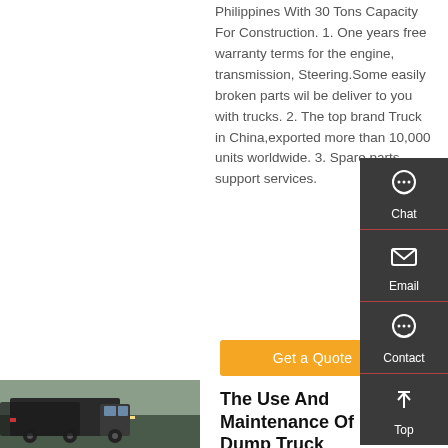Philippines With 30 Tons Capacity For Construction. 1. One years free warranty terms for the engine, transmission, Steering.Some easily broken parts wil be deliver to you with trucks. 2. The top brand Truck in China,exported more than 10,000 units worldwide. 3. Spare parts support services.
Get a Quote
[Figure (photo): Photo of HOWO dump trucks parked in a row, dark colored vehicles]
The Use And Maintenance Of HOWO Dump Truck